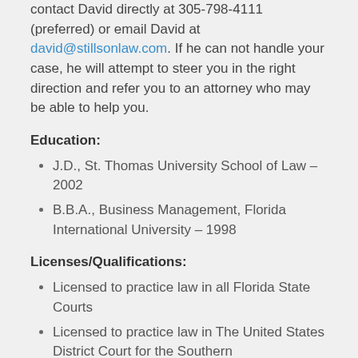contact David directly at 305-798-4111 (preferred) or email David at david@stillsonlaw.com. If he can not handle your case, he will attempt to steer you in the right direction and refer you to an attorney who may be able to help you.
Education:
J.D., St. Thomas University School of Law – 2002
B.B.A., Business Management, Florida International University – 1998
Licenses/Qualifications:
Licensed to practice law in all Florida State Courts
Licensed to practice law in The United States District Court for the Southern